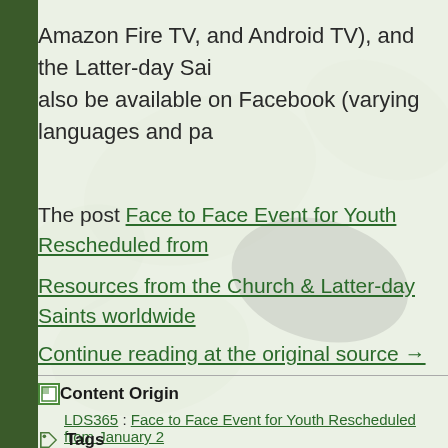Amazon Fire TV, and Android TV), and the Latter-day Sai also be available on Facebook (varying languages and pa
The post Face to Face Event for Youth Rescheduled from Resources from the Church & Latter-day Saints worldwide
Continue reading at the original source →
Content Origin
LDS365 : Face to Face Event for Youth Rescheduled from January 2
Tags